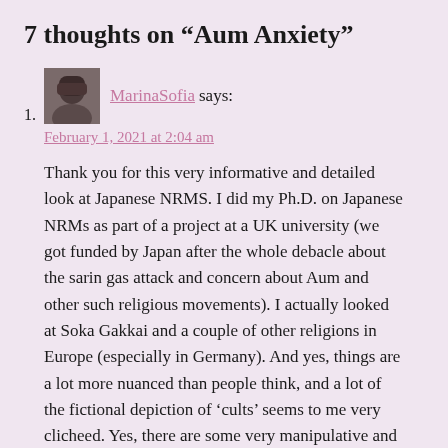7 thoughts on “Aum Anxiety”
MarinaSofia says:
February 1, 2021 at 2:04 am

Thank you for this very informative and detailed look at Japanese NRMS. I did my Ph.D. on Japanese NRMs as part of a project at a UK university (we got funded by Japan after the whole debacle about the sarin gas attack and concern about Aum and other such religious movements). I actually looked at Soka Gakkai and a couple of other religions in Europe (especially in Germany). And yes, things are a lot more nuanced than people think, and a lot of the fictional depiction of ‘cults’ seems to me very clicheed. Yes, there are some very manipulative and abusive founders of religious movements, but